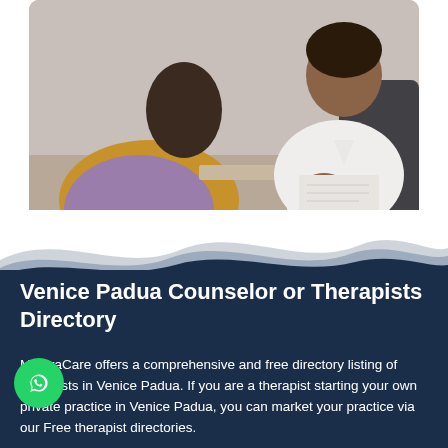[Figure (photo): A therapy session showing two people: one person seated with back to camera wearing a mauve top, and a therapist in a white blouse sitting across holding papers, in a professional office setting.]
Venice Padua Counselor or Therapists Directory
MantraCare offers a comprehensive and free directory listing of therapists in Venice Padua. If you are a therapist starting your own private practice in Venice Padua, you can market your practice via our Free therapist directories.